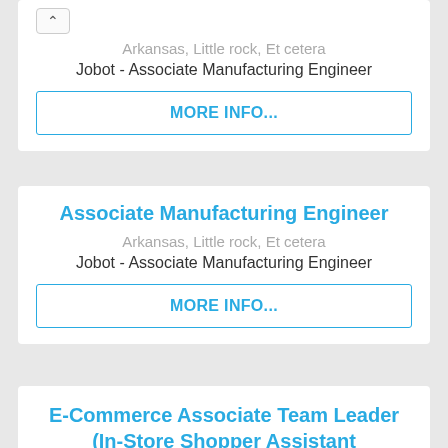Arkansas, Little rock, Et cetera
Jobot - Associate Manufacturing Engineer
MORE INFO...
Associate Manufacturing Engineer
Arkansas, Little rock, Et cetera
Jobot - Associate Manufacturing Engineer
MORE INFO...
E-Commerce Associate Team Leader (In-Store Shopper Assistant Department Manager)